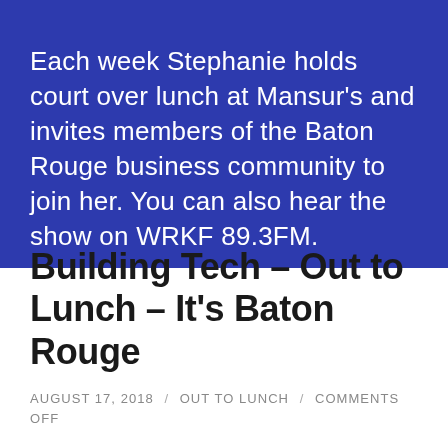Each week Stephanie holds court over lunch at Mansur's and invites members of the Baton Rouge business community to join her. You can also hear the show on WRKF 89.3FM.
Building Tech – Out to Lunch – It's Baton Rouge
AUGUST 17, 2018 / OUT TO LUNCH / COMMENTS OFF